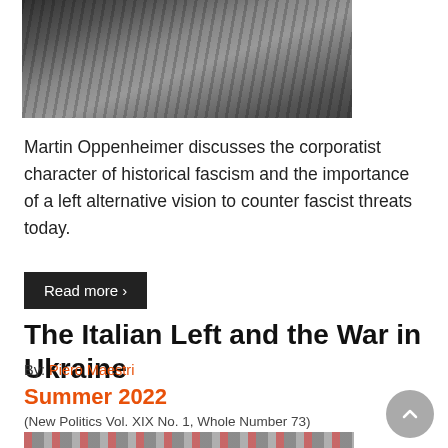[Figure (photo): Black and white photograph showing people walking, likely a historical march or demonstration, cropped to show legs and lower bodies.]
Martin Oppenheimer discusses the corporatist character of historical fascism and the importance of a left alternative vision to counter fascist threats today.
Read more ›
The Italian Left and the War in Ukraine
By: Piero Maestri
Summer 2022
(New Politics Vol. XIX No. 1, Whole Number 73)
[Figure (photo): Partial view of a color photograph at the bottom of the page.]